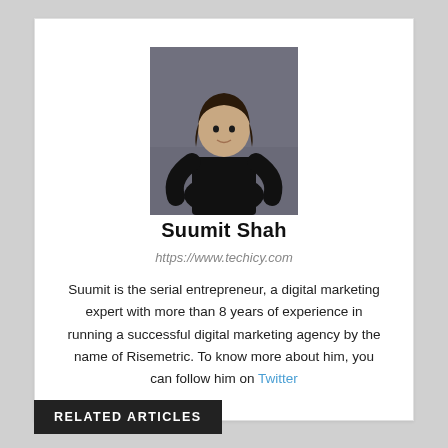[Figure (photo): Portrait photo of Suumit Shah, a young man with long dark hair wearing a black t-shirt, standing against a grey background.]
Suumit Shah
https://www.techicy.com
Suumit is the serial entrepreneur, a digital marketing expert with more than 8 years of experience in running a successful digital marketing agency by the name of Risemetric. To know more about him, you can follow him on Twitter
RELATED ARTICLES